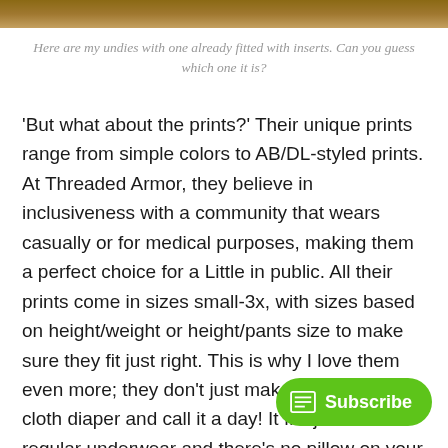[Figure (photo): Top strip showing a partial photo of undies/underwear items]
Here are my undies with one already fitted with inserts. Can you guess which one it is?
'But what about the prints?' Their unique prints range from simple colors to AB/DL-styled prints. At Threaded Armor, they believe in inclusiveness with a community that wears casually or for medical purposes, making them a perfect choice for a Little in public. All their prints come in sizes small-3x, with sizes based on height/weight or height/pants size to make sure they fit just right. This is why I love them even more; they don't just make a one-size-fits cloth diaper and call it a day! It fits just like regular underwear and there's no pillow on your butt.